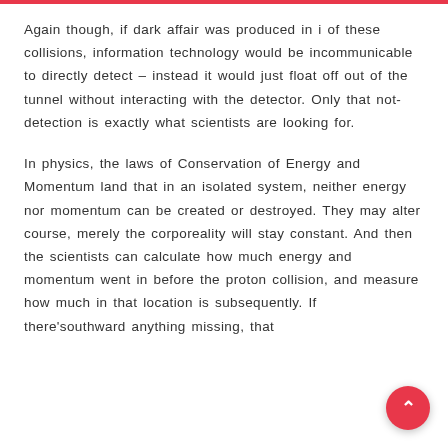Again though, if dark affair was produced in i of these collisions, information technology would be incommunicable to directly detect – instead it would just float off out of the tunnel without interacting with the detector. Only that not-detection is exactly what scientists are looking for.
In physics, the laws of Conservation of Energy and Momentum land that in an isolated system, neither energy nor momentum can be created or destroyed. They may alter course, merely the corporeality will stay constant. And then the scientists can calculate how much energy and momentum went in before the proton collision, and measure how much in that location is subsequently. If there'southward anything missing, that